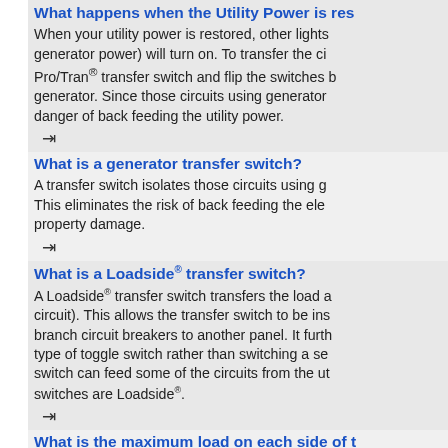What happens when the Utility Power is res...
When your utility power is restored, other lights (not on generator power) will turn on. To transfer the ci... Pro/Tran® transfer switch and flip the switches b... generator. Since those circuits using generator... danger of back feeding the utility power.
What is a generator transfer switch?
A transfer switch isolates those circuits using g... This eliminates the risk of back feeding the ele... property damage.
What is a Loadside® transfer switch?
A Loadside® transfer switch transfers the load a... circuit). This allows the transfer switch to be ins... branch circuit breakers to another panel. It furth... type of toggle switch rather than switching a se... switch can feed some of the circuits from the ut... switches are Loadside®.
What is the maximum load on each side of t...
The wattmeters on each Reliance Pro/Tran® tra... incoming 120 volt lines in order to gauge how m... generator performance.
20 amps (5000 watts) for the 6-circuit mode...